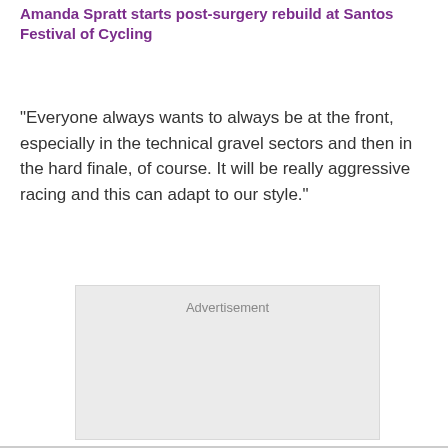Amanda Spratt starts post-surgery rebuild at Santos Festival of Cycling
"Everyone always wants to always be at the front, especially in the technical gravel sectors and then in the hard finale, of course. It will be really aggressive racing and this can adapt to our style."
[Figure (other): Advertisement placeholder box with light grey background and 'Advertisement' label text]